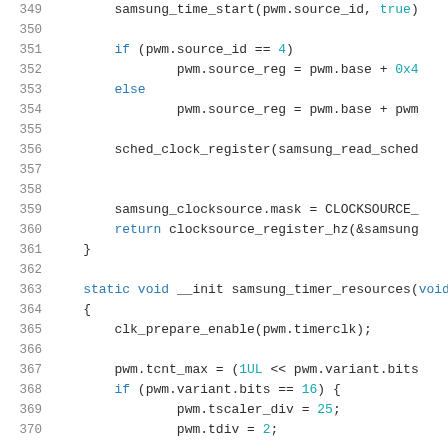[Figure (screenshot): Source code listing showing C code lines 349-370 for samsung timer functions, with syntax highlighting. Lines include if/else blocks, sched_clock_register call, samsung_clocksource mask assignment, return statement, static void __init samsung_timer_resources function, clk_prepare_enable call, pwm.tcnt_max assignment, and if block for pwm.variant.bits.]